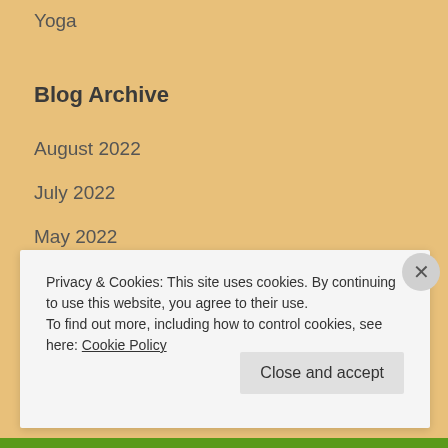Yoga
Blog Archive
August 2022
July 2022
May 2022
April 2022
March 2022
February 2022
Privacy & Cookies: This site uses cookies. By continuing to use this website, you agree to their use.
To find out more, including how to control cookies, see here: Cookie Policy
Close and accept